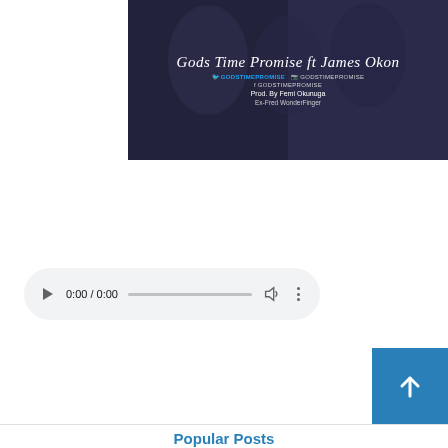[Figure (photo): Music single cover art on dark background with text 'Gods Time Promise ft James Okon', social media handles @GODSTIMEPROMISE, and production credit 'Prod. By Femi Okunuga, Ex-Fred WonderFinger']
[Figure (screenshot): HTML5 audio player widget showing 0:00 / 0:00, progress bar, volume icon, and more options icon]
Download
Popular Posts